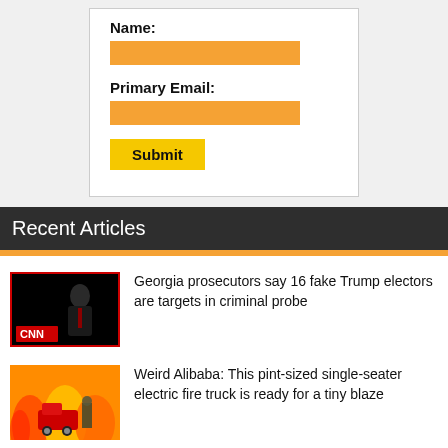Name:
Primary Email:
Submit
Recent Articles
[Figure (screenshot): CNN thumbnail showing a dark image of a person in a suit with CNN logo in red at the bottom left]
Georgia prosecutors say 16 fake Trump electors are targets in criminal probe
[Figure (photo): Thumbnail showing a small red electric fire truck in front of an orange fiery background with a firefighter figure]
Weird Alibaba: This pint-sized single-seater electric fire truck is ready for a tiny blaze